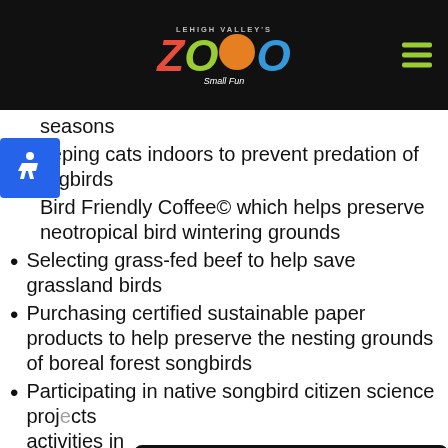Lehigh Valley's Zoo — Small Fun
seasons
Keeping cats indoors to prevent predation of songbirds
Bird Friendly Coffee© which helps preserve neotropical bird wintering grounds
Selecting grass-fed beef to help save grassland birds
Purchasing certified sustainable paper products to help preserve the nesting grounds of boreal forest songbirds
Participating in native songbird citizen science proj… activities in…
Celebrate World Migratory Bird Day